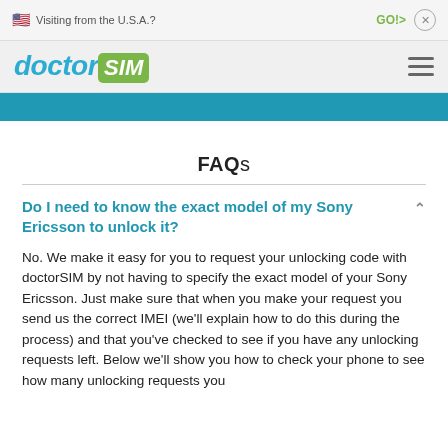Visiting from the U.S.A.?   GO!>   ×
[Figure (logo): doctorSIM logo with 'doctor' in teal italic bold and 'SIM' in white on green rounded rectangle, plus hamburger menu icon]
FAQs
Do I need to know the exact model of my Sony Ericsson to unlock it?
No. We make it easy for you to request your unlocking code with doctorSIM by not having to specify the exact model of your Sony Ericsson. Just make sure that when you make your request you send us the correct IMEI (we'll explain how to do this during the process) and that you've checked to see if you have any unlocking requests left. Below we'll show you how to check your phone to see how many unlocking requests you